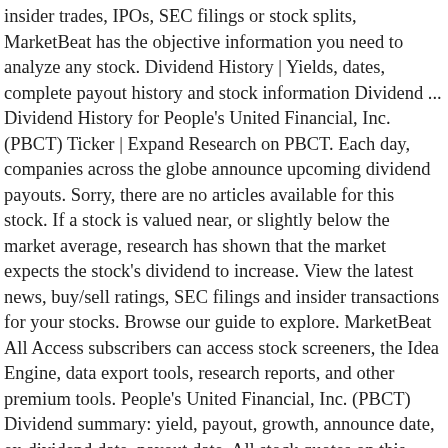insider trades, IPOs, SEC filings or stock splits, MarketBeat has the objective information you need to analyze any stock. Dividend History | Yields, dates, complete payout history and stock information Dividend ... Dividend History for People's United Financial, Inc. (PBCT) Ticker | Expand Research on PBCT. Each day, companies across the globe announce upcoming dividend payouts. Sorry, there are no articles available for this stock. If a stock is valued near, or slightly below the market average, research has shown that the market expects the stock's dividend to increase. View the latest news, buy/sell ratings, SEC filings and insider transactions for your stocks. Browse our guide to explore. MarketBeat All Access subscribers can access stock screeners, the Idea Engine, data export tools, research reports, and other premium tools. People's United Financial, Inc. (PBCT) Dividend summary: yield, payout, growth, announce date, ex-dividend date, payout date. All stock quotes on this website should be considered as having a 24-hour delay. Peoples Bank Bridgeport Ct (PBCT) Dividend History. Following is a snapshot of